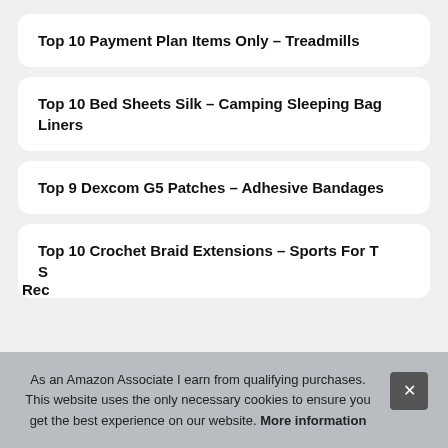Top 10 Payment Plan Items Only – Treadmills
Top 10 Bed Sheets Silk – Camping Sleeping Bag Liners
Top 9 Dexcom G5 Patches – Adhesive Bandages
Top 10 Crochet Braid Extensions – Sports For T S
Rec
As an Amazon Associate I earn from qualifying purchases. This website uses the only necessary cookies to ensure you get the best experience on our website. More information